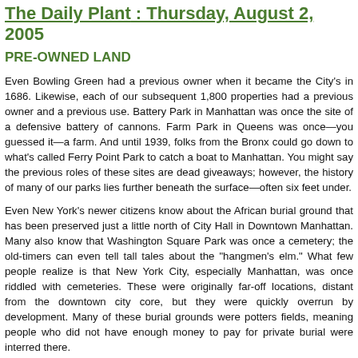The Daily Plant : Thursday, August 2005
PRE-OWNED LAND
Even Bowling Green had a previous owner when it became the City's in 1686. Likewise, each of our subsequent 1,800 properties had a previous owner and a previous use. Battery Park in Manhattan was once the site of a defensive battery of cannons. Farm Park in Queens was once—you guessed it—a farm. And until 1939, folks from the Bronx could go down to what's called Ferry Point Park to catch a boat to Manhattan. You might say the previous roles of these sites are dead giveaways; however, the history of many of our parks lies further beneath the surface—often six feet under.
Even New York's newer citizens know about the African burial ground that has been preserved just a little north of City Hall in Downtown Manhattan. Many also know that Washington Square Park was once a cemetery; the old-timers can even tell tall tales about the "hangmen's elm." What few people realize is that New York City, especially Manhattan, was once riddled with cemeteries. These were originally far-off locations, distant from the downtown city core, but they were quickly overrun by development. Many of these burial grounds were potters fields, meaning people who did not have enough money to pay for private burial were interred there.
Originally, the City chose to make these potters fields "out of town